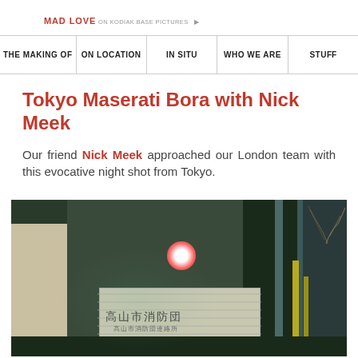MAD LOVE ON KODIAK BASE PICTURES
| THE MAKING OF | ON LOCATION | IN SITU | WHO WE ARE | STU... |
| --- | --- | --- | --- | --- |
Tokyo Maserati Bora with Nick Meek
Our friend Nick Meek approached our London team with this evocative night shot from Tokyo.
[Figure (photo): Night photograph of a Tokyo street scene showing buildings with Japanese signage, a glowing red/pink light source on a building facade, metal pipes/poles, and a shutter door with kanji characters reading approximately 高山市消防団]